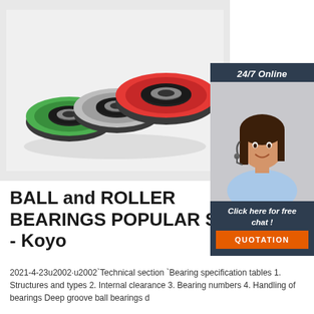[Figure (photo): Three colored ball bearings (green, gray, red/orange) photographed on a white background, showing the inner metal ball bearing mechanism visible in the center of each wheel-shaped bearing.]
[Figure (photo): 24/7 Online customer service representative - a woman with dark hair wearing a headset, smiling, with 'Click here for free chat!' text and an orange QUOTATION button on a dark navy background sidebar widget.]
BALL and ROLLER BEARINGS POPULAR SIZE - Koyo
2021-4-23u2002·u2002`Technical section `Bearing specification tables 1. Structures and types 2. Internal clearance 3. Bearing numbers 4. Handling of bearings Deep groove ball bearings d